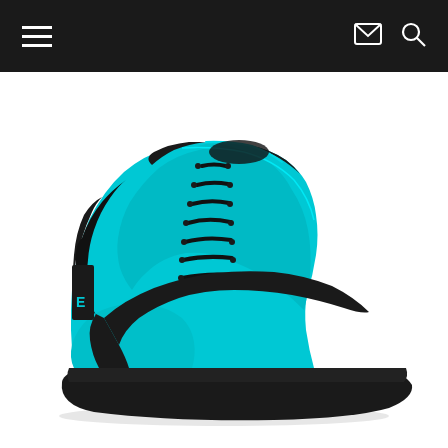Navigation bar with hamburger menu, email icon, and search icon
[Figure (photo): Nike SB Blazer Mid sneaker in teal/cyan suede with black swoosh, black collar lining, black laces, and black rubber sole, shown in profile view on white background]